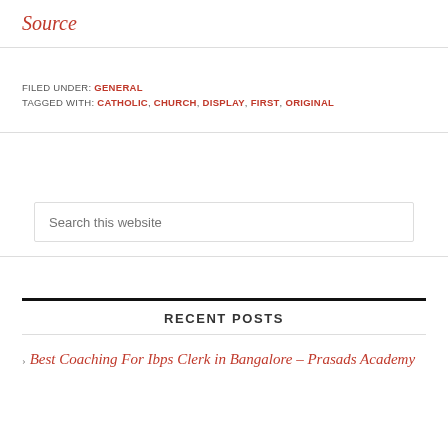Source
FILED UNDER: GENERAL
TAGGED WITH: CATHOLIC, CHURCH, DISPLAY, FIRST, ORIGINAL
Search this website
RECENT POSTS
Best Coaching For Ibps Clerk in Bangalore – Prasads Academy